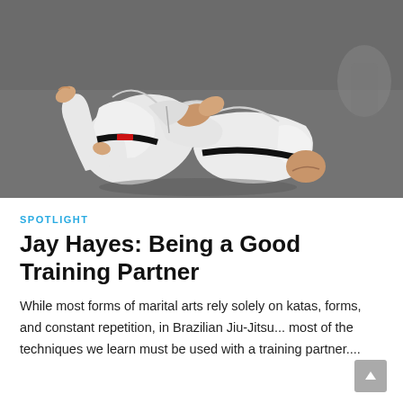[Figure (photo): Two people in white Brazilian Jiu-Jitsu gis (one with a black belt with red bar, one with a black belt) grappling on a gray mat. One practitioner appears to be applying a technique while on the ground.]
SPOTLIGHT
Jay Hayes: Being a Good Training Partner
While most forms of marital arts rely solely on katas, forms, and constant repetition, in Brazilian Jiu-Jitsu... most of the techniques we learn must be used with a training partner....